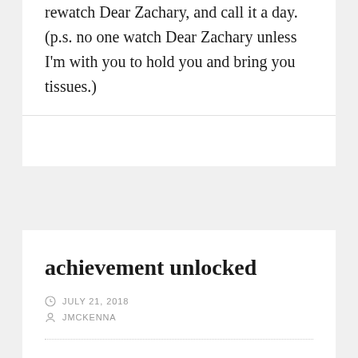rewatch Dear Zachary, and call it a day. (p.s. no one watch Dear Zachary unless I'm with you to hold you and bring you tissues.)
achievement unlocked
JULY 21, 2018
JMCKENNA
Well, it finally happened. Today when I arrived to pick up my son at school one of his school